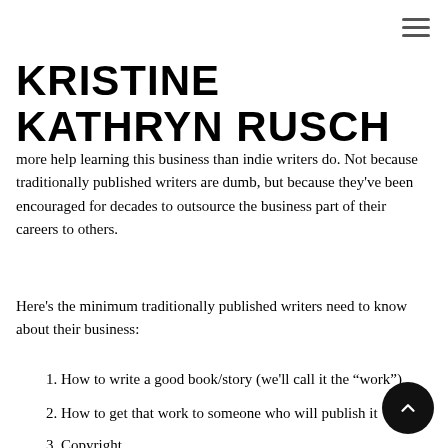KRISTINE KATHRYN RUSCH
more help learning this business than indie writers do. Not because traditionally published writers are dumb, but because they've been encouraged for decades to outsource the business part of their careers to others.
Here's the minimum traditionally published writers need to know about their business:
1. How to write a good book/story (we'll call it the “work”)
2. How to get that work to someone who will publish it
3. Copyright